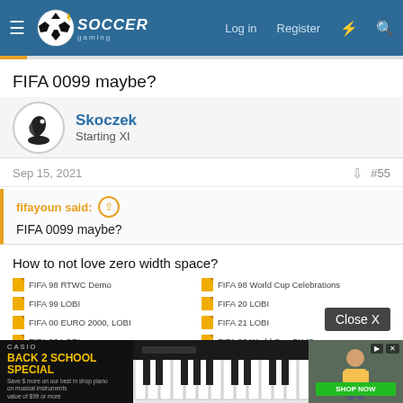Soccer Gaming — Log in | Register
FIFA 0099 maybe?
Skoczek
Starting XI
Sep 15, 2021  #55
fifayoun said: ↑
FIFA 0099 maybe?
How to not love zero width space?
FIFA 98 RTWC Demo
FIFA 98 World Cup Celebrations
FIFA 99 (LOBI)
FIFA 20 (LOBI)
FIFA 00 (EURO 2000, LOBI)
FIFA 21 (LOBI)
FIFA 02 (LOBI)
FIFA 02 World Cup SLVO
FIFA 03 (LOBI)
[Figure (screenshot): Casio Back 2 School Special advertisement banner at bottom of page]